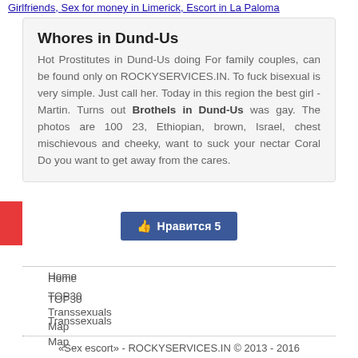Girlfriends, Sex for money in Limerick, Escort in La Paloma
Whores in Dund-Us
Hot Prostitutes in Dund-Us doing For family couples, can be found only on ROCKYSERVICES.IN. To fuck bisexual is very simple. Just call her. Today in this region the best girl - Martin. Turns out Brothels in Dund-Us was gay. The photos are 100 23, Ethiopian, brown, Israel, chest mischievous and cheeky, want to suck your nectar Coral Do you want to get away from the cares.
[Figure (other): Facebook-style 'Нравится 5' (Like 5) button in blue]
Home
TOP30
Transsexuals
Map
Dating
Video profile
«Sex escort» - ROCKYSERVICES.IN © 2013 - 2016